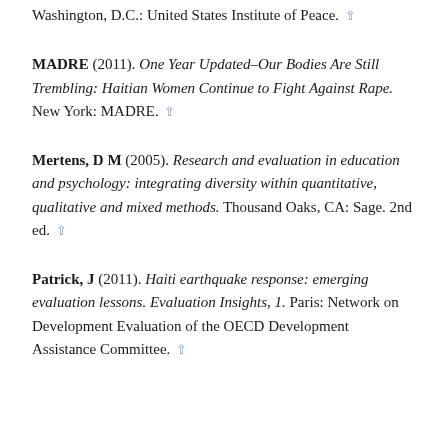DC: United States Institute of Peace. ↑
MADRE (2011). One Year Updated–Our Bodies Are Still Trembling: Haitian Women Continue to Fight Against Rape. New York: MADRE. ↑
Mertens, D M (2005). Research and evaluation in education and psychology: integrating diversity within quantitative, qualitative and mixed methods. Thousand Oaks, CA: Sage. 2nd ed. ↑
Patrick, J (2011). Haiti earthquake response: emerging evaluation lessons. Evaluation Insights, 1. Paris: Network on Development Evaluation of the OECD Development Assistance Committee. ↑